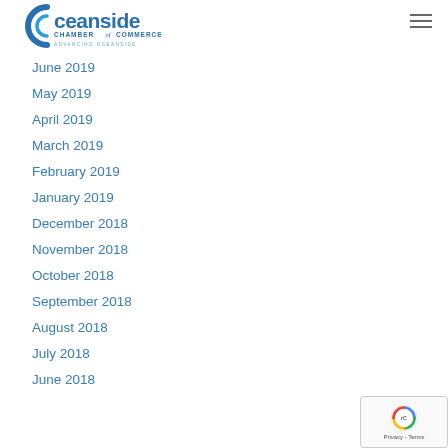Oceanside Chamber of Commerce - Advancing Oceanside
June 2019
May 2019
April 2019
March 2019
February 2019
January 2019
December 2018
November 2018
October 2018
September 2018
August 2018
July 2018
June 2018